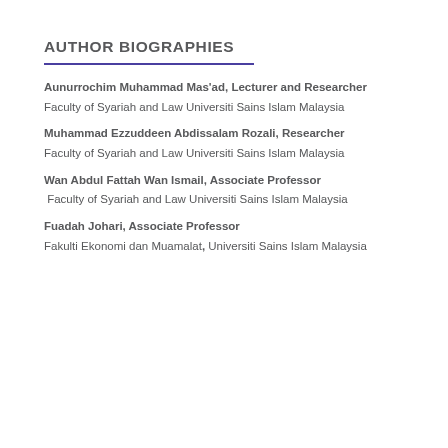AUTHOR BIOGRAPHIES
Aunurrochim Muhammad Mas'ad, Lecturer and Researcher
Faculty of Syariah and Law Universiti Sains Islam Malaysia
Muhammad Ezzuddeen Abdissalam Rozali, Researcher
Faculty of Syariah and Law Universiti Sains Islam Malaysia
Wan Abdul Fattah Wan Ismail, Associate Professor
Faculty of Syariah and Law Universiti Sains Islam Malaysia
Fuadah Johari, Associate Professor
Fakulti Ekonomi dan Muamalat, Universiti Sains Islam Malaysia